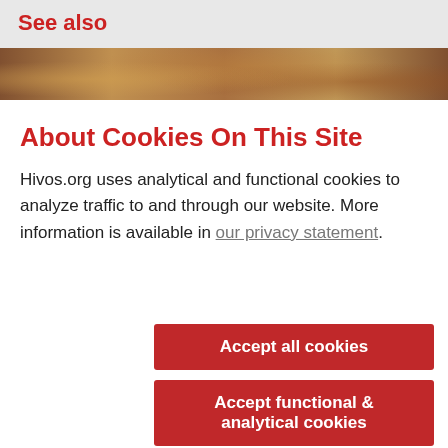See also
[Figure (photo): A photo strip showing people, partially visible at the top of the cookie modal]
About Cookies On This Site
Hivos.org uses analytical and functional cookies to analyze traffic to and through our website. More information is available in our privacy statement.
Accept all cookies
Accept functional & analytical cookies